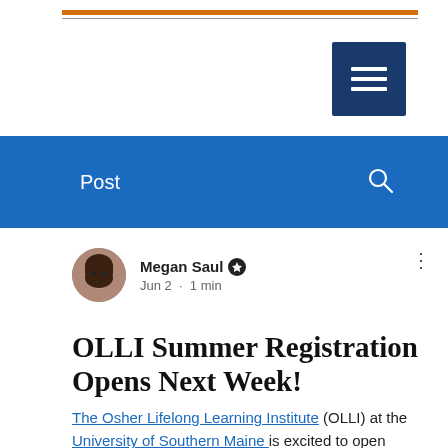Post
Megan Saul · Jun 2 · 1 min
OLLI Summer Registration Opens Next Week!
The Osher Lifelong Learning Institute (OLLI) at the University of Southern Maine is excited to open registration to Maine Senior College Network